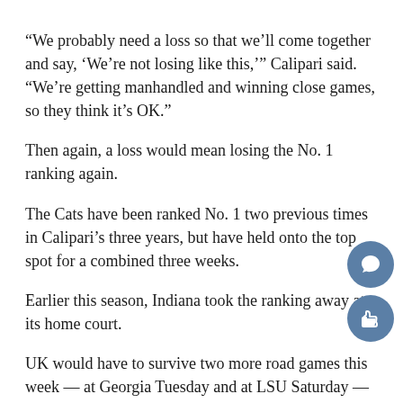“We probably need a loss so that we’ll come together and say, ‘We’re not losing like this,’” Calipari said. “We’re getting manhandled and winning close games, so they think it’s OK.”
Then again, a loss would mean losing the No. 1 ranking again.
The Cats have been ranked No. 1 two previous times in Calipari’s three years, but have held onto the top spot for a combined three weeks.
Earlier this season, Indiana took the ranking away at its home court.
UK would have to survive two more road games this week — at Georgia Tuesday and at LSU Saturday — to keep the top ranking.